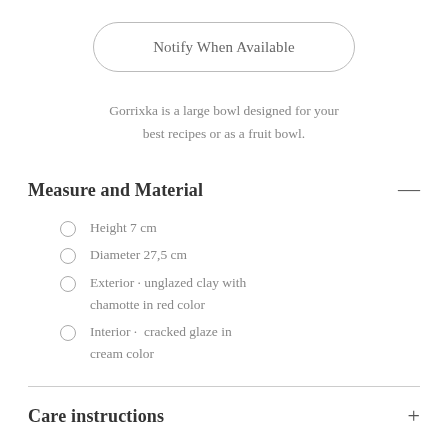Notify When Available
Gorrixka is a large bowl designed for your best recipes or as a fruit bowl.
Measure and Material
Height 7 cm
Diameter 27,5 cm
Exterior · unglazed clay with chamotte in red color
Interior ·  cracked glaze in cream color
Care instructions